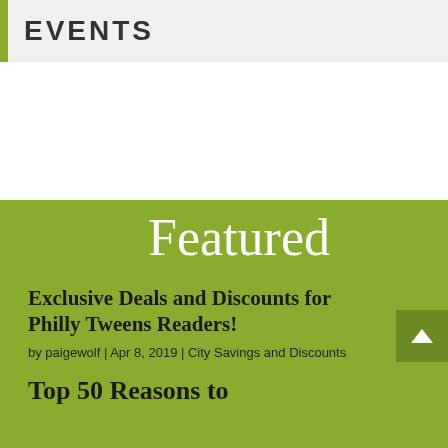EVENTS
Featured
Exclusive Deals and Discounts for Philly Tweens Readers!
by paigewolf | Apr 8, 2019 | City Savings and Discounts
Top 50 R...